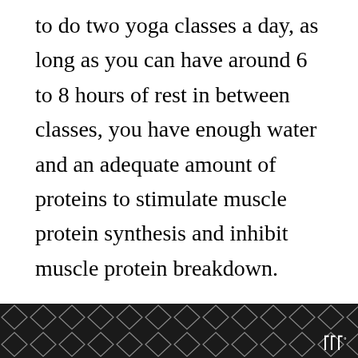to do two yoga classes a day, as long as you can have around 6 to 8 hours of rest in between classes, you have enough water and an adequate amount of proteins to stimulate muscle protein synthesis and inhibit muscle protein breakdown.
[Figure (screenshot): UI overlay area with a heart (favorite) button in blue, a share button in white, a 'What's Next' card showing '15 Best Peloton...' with a thumbnail, and a bottom navigation bar with a diamond pattern and WW logo.]